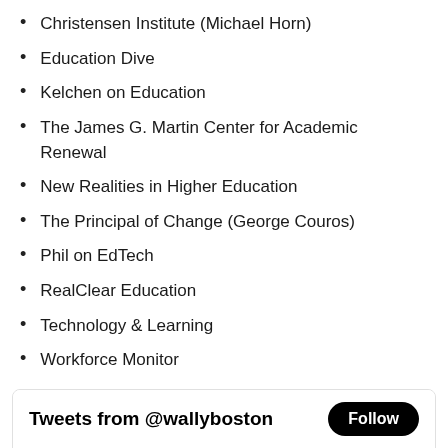Christensen Institute (Michael Horn)
Education Dive
Kelchen on Education
The James G. Martin Center for Academic Renewal
New Realities in Higher Education
The Principal of Change (George Couros)
Phil on EdTech
RealClear Education
Technology & Learning
Workforce Monitor
[Figure (screenshot): Twitter widget showing 'Tweets from @wallyboston' header with a Follow button, and a tweet from Wallace Boston, E... @wallybo... · 15h reading 'Wordle 440 4/6']